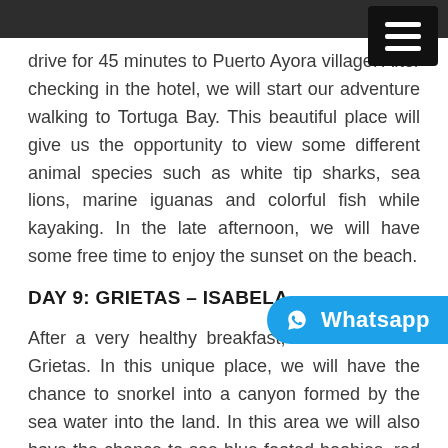drive for 45 minutes to Puerto Ayora village. After checking in the hotel, we will start our adventure walking to Tortuga Bay. This beautiful place will give us the opportunity to view some different animal species such as white tip sharks, sea lions, marine iguanas and colorful fish while kayaking. In the late afternoon, we will have some free time to enjoy the sunset on the beach.
DAY 9: GRIETAS – ISABELA
After a very healthy breakfast, we will hike to Grietas. In this unique place, we will have the chance to snorkel into a canyon formed by the sea water into the land. In this area we will also have the chance to see blue footed boobies, red crabs, frigate birds, and other bird species. After lunch we will take a speed boat to Isabela Island, here we will spend the night in the hotel right in front of the beach.  (B)